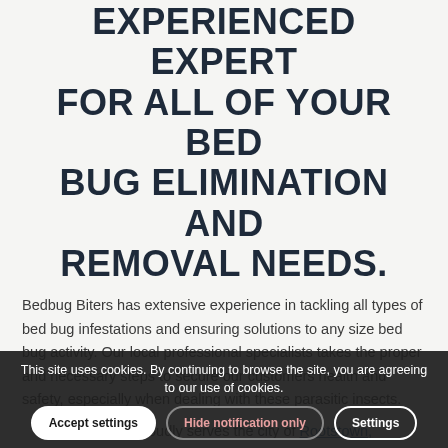EXPERIENCED EXPERT FOR ALL OF YOUR BED BUG ELIMINATION AND REMOVAL NEEDS.
Bedbug Biters has extensive experience in tackling all types of bed bug infestations and ensuring solutions to any size bed bug activity. Our local professional specialists takes the proper and necessary steps to secure our customers health and safety, especially when dealing with these parasitic insects.
Bedbug Biters proudly serves the city of Rootstown, Ohio and the surrounding areas.
If you searched for heat treatment Ohio, Trigger heat treatment exterminator, heat treatment Ohio, bed bug treatment for bed bugs near me, bed bug treatment
This site uses cookies. By continuing to browse the site, you are agreeing to our use of cookies.